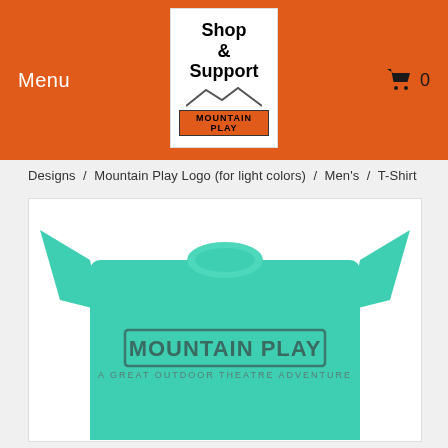Menu | Shop & Support Mountain Play | Cart: 0
Designs / Mountain Play Logo (for light colors) / Men's / T-Shirt
[Figure (photo): A teal/mint green t-shirt with 'MOUNTAIN PLAY' printed in large dark teal block letters and 'A GREAT OUTDOOR THEATRE ADVENTURE' in smaller letters below, displayed on a white background.]